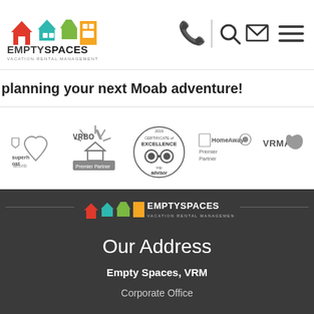[Figure (logo): Empty Spaces Vacation Rental Management logo with colorful building icons]
[Figure (infographic): Navigation icons: phone, search, email, menu hamburger]
planning your next Moab adventure!
[Figure (logo): Partner logos: airbnb superhost, VRBO Premier Partner, TripAdvisor Certificate of Excellence, HomeAway Premier Partner, VRMA]
[Figure (logo): Empty Spaces Vacation Rental Management footer logo]
Our Address
Empty Spaces, VRM
Corporate Office